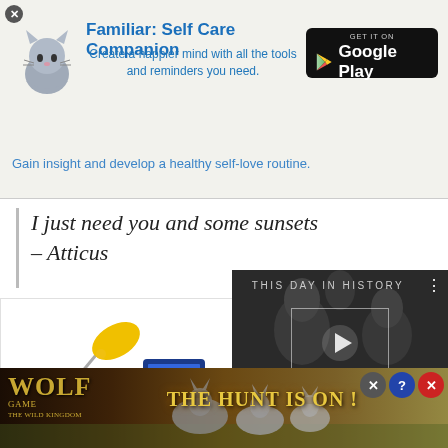[Figure (screenshot): App advertisement for 'Familiar: Self Care Companion' with cat icon, Google Play badge, tagline and a close button]
Familiar: Self Care Companion
Create a happier mind with all the tools and reminders you need.
Gain insight and develop a healthy self-love routine.
I just need you and some sunsets – Atticus
[Figure (illustration): Illustration of a desk lamp and stacked device screens on a white background]
[Figure (screenshot): Video thumbnail labeled 'THIS DAY IN HISTORY' with two people in black and white, play button, September label, and video controls]
[Figure (screenshot): Game advertisement for 'Wolf Game: The Wild Kingdom' with wolves in a field and text 'THE HUNT IS ON !']